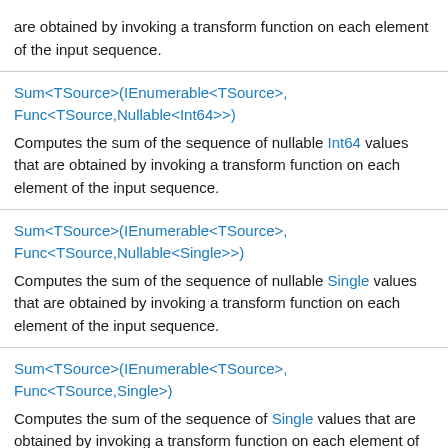are obtained by invoking a transform function on each element of the input sequence.
Sum<TSource>(IEnumerable<TSource>, Func<TSource,Nullable<Int64>>)
Computes the sum of the sequence of nullable Int64 values that are obtained by invoking a transform function on each element of the input sequence.
Sum<TSource>(IEnumerable<TSource>, Func<TSource,Nullable<Single>>)
Computes the sum of the sequence of nullable Single values that are obtained by invoking a transform function on each element of the input sequence.
Sum<TSource>(IEnumerable<TSource>, Func<TSource,Single>)
Computes the sum of the sequence of Single values that are obtained by invoking a transform function on each element of the input sequence.
Take<TSource>(IEnumerable<TSource>, Int32)